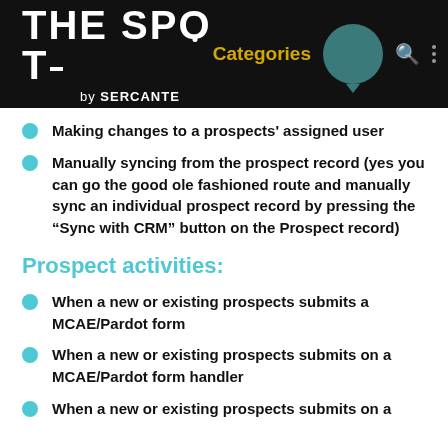THE SPOT by SERCANTE — Categories
Making changes to a prospects' assigned user
Manually syncing from the prospect record (yes you can go the good ole fashioned route and manually sync an individual prospect record by pressing the “Sync with CRM” button on the Prospect record)
Prospect activities:
When a new or existing prospects submits a MCAE/Pardot form
When a new or existing prospects submits on a MCAE/Pardot form handler
When a new or existing prospects submits on a